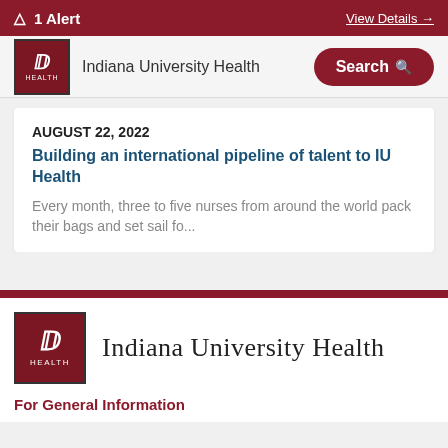1 Alert   View Details →
[Figure (logo): Indiana University Health logo with trident symbol and 'Indiana University Health' text, with Search button]
AUGUST 22, 2022
Building an international pipeline of talent to IU Health
Every month, three to five nurses from around the world pack their bags and set sail fo...
[Figure (logo): Indiana University Health footer logo with trident symbol and full organization name 'Indiana University Health']
For General Information